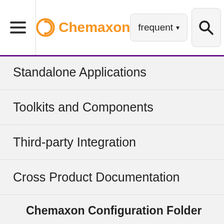Chemaxon navigation header with hamburger menu, logo, frequent dropdown, and search
Standalone Applications
Toolkits and Components
Third-party Integration
Cross Product Documentation
Chemaxon Configuration Folder
Chemical Fingerprints
Chemical Terms
Available Functions
Chemical Terms Getting Help an...
Plugin declar sectio Curren only the atomi prope query functi applie s for proct